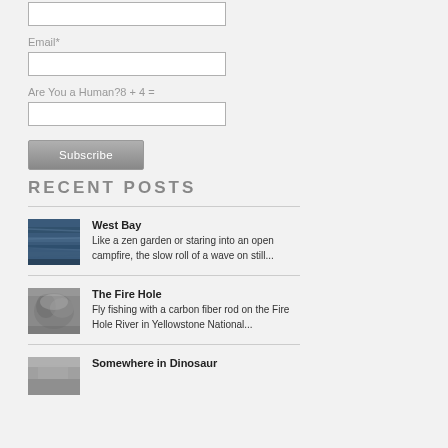Email*
Are You a Human?8 + 4 =
Subscribe
RECENT POSTS
[Figure (photo): Water ripples - West Bay thumbnail]
West Bay
Like a zen garden or staring into an open campfire, the slow roll of a wave on still...
[Figure (photo): Misty water - The Fire Hole thumbnail]
The Fire Hole
Fly fishing with a carbon fiber rod on the Fire Hole River in Yellowstone National...
[Figure (photo): Somewhere in Dinosaur thumbnail]
Somewhere in Dinosaur